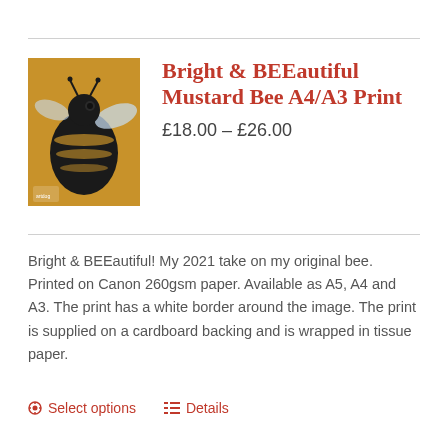[Figure (illustration): Product image of a bee print on a mustard/golden yellow background, showing a detailed bee illustration. Small logo/watermark at bottom left of image.]
Bright & BEEautiful Mustard Bee A4/A3 Print
£18.00 – £26.00
Bright & BEEautiful! My 2021 take on my original bee. Printed on Canon 260gsm paper. Available as A5, A4 and A3. The print has a white border around the image. The print is supplied on a cardboard backing and is wrapped in tissue paper.
Select options   Details